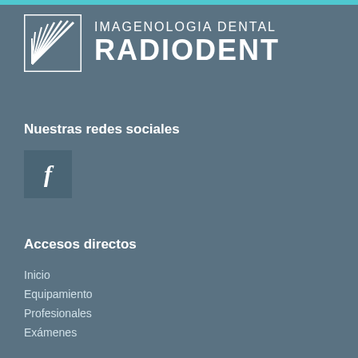[Figure (logo): Imagenologia Dental Radiodent logo with white sunburst/fan icon and text IMAGENOLOGIA DENTAL RADIODENT on dark teal-grey background]
Nuestras redes sociales
[Figure (infographic): Facebook icon - white letter f on a darker square box]
Accesos directos
Inicio
Equipamiento
Profesionales
Exámenes